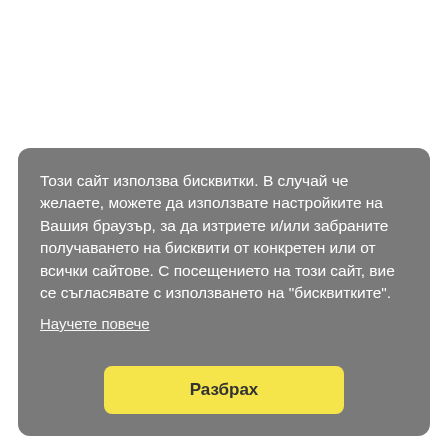Този сайт използва бисквитки. В случай че желаете, можете да използвате настройките на Вашия браузър, за да изтриете и/или забраните получаването на бисквити от конкретен или от всички сайтове. С посещението на този сайт, вие се съгласявате с използването на "бисквитките".
Научете повече
Разбрах